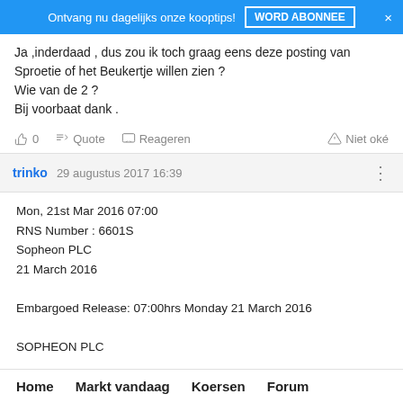Ontvang nu dagelijks onze kooptips! WORD ABONNEE ×
Ja ,inderdaad , dus zou ik toch graag eens deze posting van Sproetie of het Beukertje willen zien ?
Wie van de 2 ?
Bij voorbaat dank .
👍 0   Quote   Reageren   △ Niet oké
trinko   29 augustus 2017 16:39
Mon, 21st Mar 2016 07:00
RNS Number : 6601S
Sopheon PLC
21 March 2016

Embargoed Release: 07:00hrs Monday 21 March 2016

SOPHEON PLC
Home   Markt vandaag   Koersen   Forum